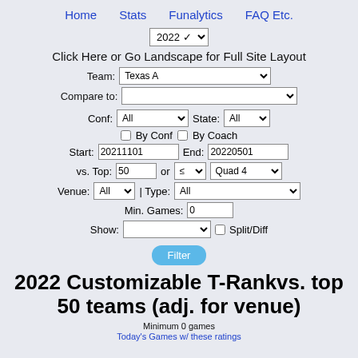Home    Stats    Funalytics    FAQ Etc.
2022 ▾
Click Here or Go Landscape for Full Site Layout
Team: Texas A ▾   Compare to: ▾
Conf: All ▾   State: All ▾   □ By Conf  □ By Coach   Start: 20211101  End: 20220501   vs. Top: 50  or ≤ ▾  Quad 4 ▾   Venue: All ▾  | Type: All ▾   Min. Games: 0   Show: ▾  □ Split/Diff
Filter
2022 Customizable T-Rankvs. top 50 teams (adj. for venue)
Minimum 0 games
Today's Games w/ these ratings